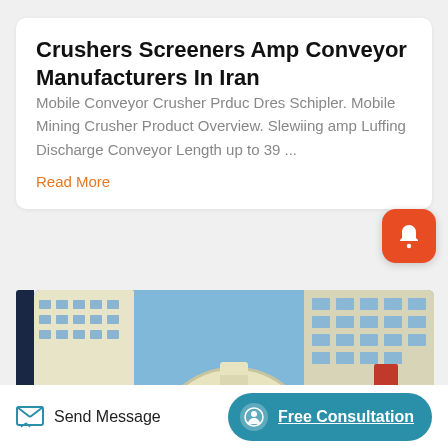Crushers Screeners Amp Conveyor Manufacturers In Iran
Mobile Conveyor Crusher Prduc Dres Schipler. Mobile Mining Crusher Product Overview. Slewiing amp Luffing Discharge Conveyor Length up to 39 ...
Read More
[Figure (photo): Outdoor industrial/manufacturing facility photo with large gear/wheel sculpture in foreground, multi-story buildings with windows in background, blue sky.]
Send Message
Free Consultation